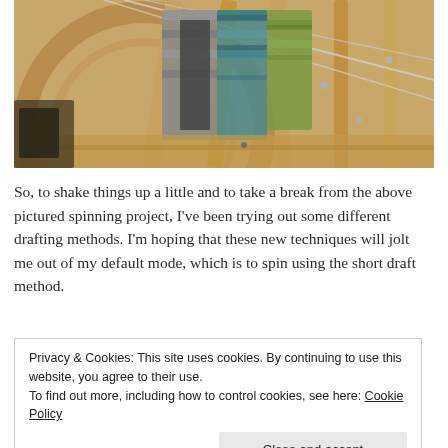[Figure (photo): Close-up photo of a spinning wheel with yarn/fiber in multiple colors including gray, teal, blue, green, and olive, wound around wooden bobbins and frame components]
So, to shake things up a little and to take a break from the above pictured spinning project, I've been trying out some different drafting methods. I'm hoping that these new techniques will jolt me out of my default mode, which is to spin using the short draft method.
Privacy & Cookies: This site uses cookies. By continuing to use this website, you agree to their use.
To find out more, including how to control cookies, see here: Cookie Policy